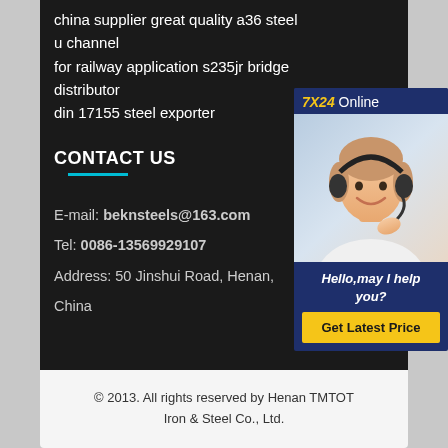china supplier great quality a36 steel u channel for railway application s235jr bridge distributor din 17155 steel exporter
CONTACT US
E-mail: beknsteels@163.com
Tel: 0086-13569929107
Address: 50 Jinshui Road, Henan, China
[Figure (photo): Customer service representative with headset smiling, with 7X24 Online chat widget, Hello may I help you? text and Get Latest Price button]
© 2013. All rights reserved by Henan TMTOT Iron & Steel Co., Ltd.